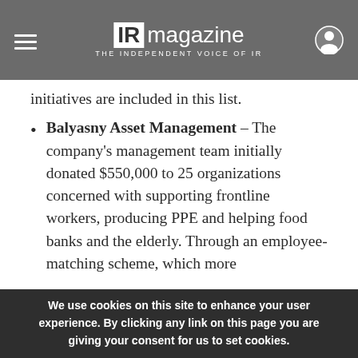IR magazine — THE INDEPENDENT VOICE OF IR
initiatives are included in this list.
Balyasny Asset Management – The company's management team initially donated $550,000 to 25 organizations concerned with supporting frontline workers, producing PPE and helping food banks and the elderly. Through an employee-matching scheme, which more
We use cookies on this site to enhance your user experience. By clicking any link on this page you are giving your consent for us to set cookies.